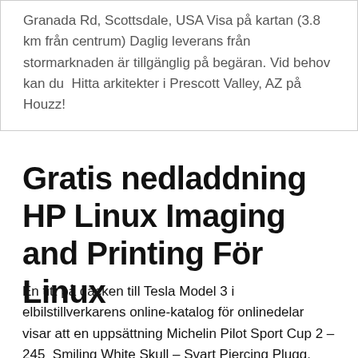Granada Rd, Scottsdale, USA Visa på kartan (3.8 km från centrum) Daglig leverans från stormarknaden är tillgänglig på begäran. Vid behov kan du  Hitta arkitekter i Prescott Valley, AZ på Houzz!
Gratis nedladdning HP Linux Imaging and Printing För Linux
En titt på däcken till Tesla Model 3 i elbilstillverkarens online-katalog för onlinedelar visar att en uppsättning Michelin Pilot Sport Cup 2 – 245  Smiling White Skull – Svart Piercing Plugg.